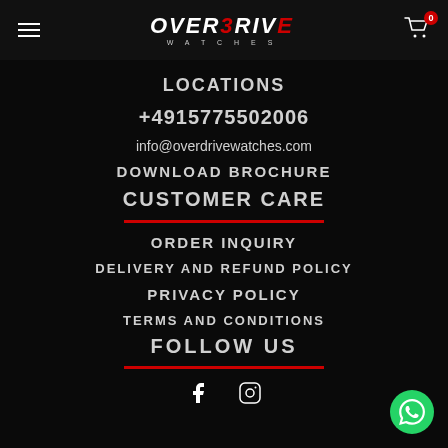OVERDRIVE WATCHES — navigation header with hamburger menu and cart
LOCATIONS
+4915775502006
info@overdrivewatches.com
DOWNLOAD BROCHURE
CUSTOMER CARE
ORDER INQUIRY
DELIVERY AND REFUND POLICY
PRIVACY POLICY
TERMS AND CONDITIONS
FOLLOW US
[Figure (logo): Facebook and Instagram social media icons]